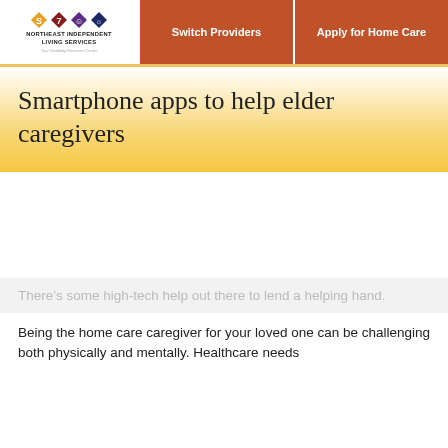NorthEast Independent Living Services | Switch Providers | Apply for Home Care
Smartphone apps to help elder caregivers
[Figure (photo): Image placeholder area (photo not visible in the source)]
There’s some high-tech help out there to lend a helping hand.
Being the home care caregiver for your loved one can be challenging both physically and mentally. Healthcare needs